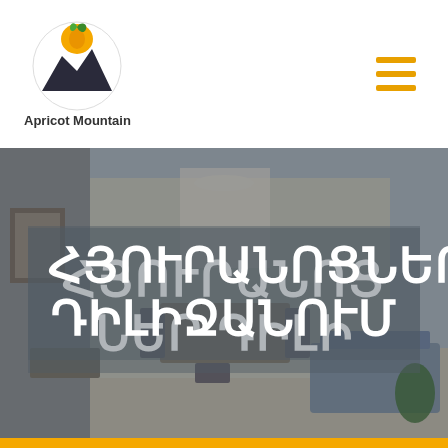[Figure (logo): Apricot Mountain logo: circular emblem with apricot fruit and mountain silhouette]
Apricot Mountain
[Figure (illustration): Hamburger menu icon with three orange horizontal lines]
[Figure (photo): Interior room photo showing dining and living area, semi-transparent dark overlay with Armenian text overlay]
ՀՅՈՒՐԱՆՈՑՆԵՐ ԴԻԼԻՋԱՆՈՒՄ
Dilijan
Rating
Search